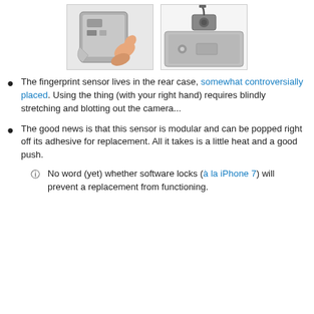[Figure (photo): Two side-by-side photos showing a fingerprint sensor being removed from a smartphone rear case. Left photo shows fingers peeling back the rear panel. Right photo shows the sensor module lifted off the case with a cable.]
The fingerprint sensor lives in the rear case, somewhat controversially placed. Using the thing (with your right hand) requires blindly stretching and blotting out the camera...
The good news is that this sensor is modular and can be popped right off its adhesive for replacement. All it takes is a little heat and a good push.
No word (yet) whether software locks (à la iPhone 7) will prevent a replacement from functioning.